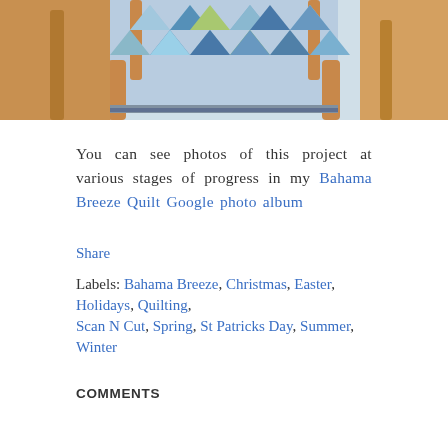[Figure (photo): Top portion of a quilt draped over wooden chair backs, showing blue, green, and white geometric/diamond pattern fabric squares, with warm wood chair legs visible at bottom]
You can see photos of this project at various stages of progress in my Bahama Breeze Quilt Google photo album
Share
Labels: Bahama Breeze, Christmas, Easter, Holidays, Quilting, Scan N Cut, Spring, St Patricks Day, Summer, Winter
COMMENTS